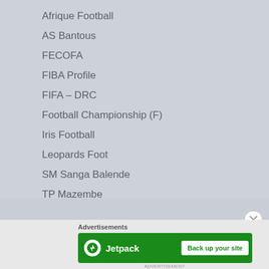Afrique Football
AS Bantous
FECOFA
FIBA Profile
FIFA – DRC
Football Championship (F)
Iris Football
Leopards Foot
SM Sanga Balende
TP Mazembe
US Tshinkunku
Advertisements
[Figure (other): Jetpack advertisement banner with 'Back up your site' button]